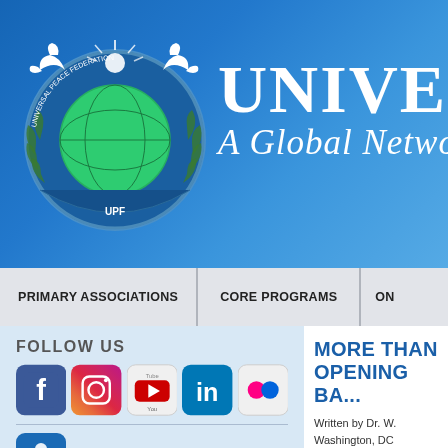[Figure (logo): Universal Peace Federation logo with globe, doves, laurel wreath, and UPF text]
UNIVERSAL
A Global Network
PRIMARY ASSOCIATIONS | CORE PROGRAMS | O...
FOLLOW US
[Figure (illustration): Social media icons: Facebook, Instagram, YouTube, LinkedIn, Flickr]
[Figure (illustration): Donate icon - blue rounded square with figure]
DONATE
[Figure (illustration): Worldwide icon - blue rounded square with network figure]
WORLDWIDE
MORE THAN
OPENING BA...
Written by Dr. W.
Washington, DC
Thursday, Augus...
[Figure (photo): Partial image of books/documents with warm brown tones]